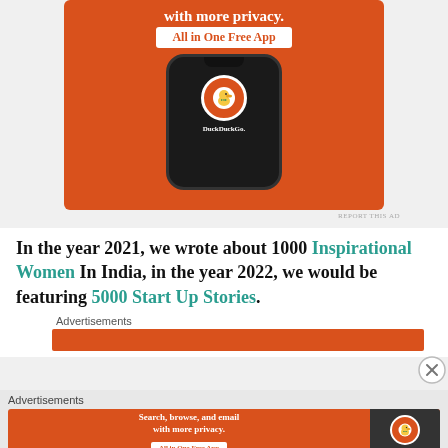[Figure (screenshot): DuckDuckGo advertisement banner showing phone mockup with DuckDuckGo logo, text 'with more privacy. All in One Free App' on orange background]
REPORT THIS AD
In the year 2021, we wrote about 1000 Inspirational Women In India, in the year 2022, we would be featuring 5000 Start Up Stories.
Advertisements
[Figure (screenshot): Orange advertisement bar]
Advertisements
[Figure (screenshot): DuckDuckGo advertisement banner: 'Search, browse, and email with more privacy. All in One Free App' with DuckDuckGo logo on dark background]
REPORT THIS AD